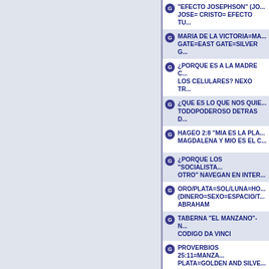"EFECTO JOSEPHSON" (JO... JOSE= CRISTO= EFECTO TU...
MARIA DE LA VICTORIA=MA... GATE=EAST GATE=SILVER G...
¿PORQUE ES A LA MADRE C... LOS CELULARES? NEXO TR...
¿QUE ES LO QUE NOS QUIE... TODOPODEROSO DETRAS D...
HAGEO 2:8 "MIA ES LA PLA... MAGDALENA Y MIO ES EL C...
¿PORQUE LOS "SOCIALISTA... OTRO" NAVEGAN EN INTER...
ORO/PLATA=SOL/LUNA=HO... (DINERO=SEXO=ESPACIO/T... ABRAHAM
TABERNA "EL MANZANO"- K... CODIGO DA VINCI
PROVERBIOS 25:11=MANZA... PLATA=GOLDEN AND SILVE...
GENESIS 49:8,12 LEONARD... DECODIFICADO
¿PORQUE LA CONEXION DE... TRASLACION EN EL TIEMPO...
MATEO 16:18=VATICANO="A... GUSANO"="TRASLACION E...
CREER QUE MARIA MAGDA... CRISTO ES CIENCIA, NO ES...